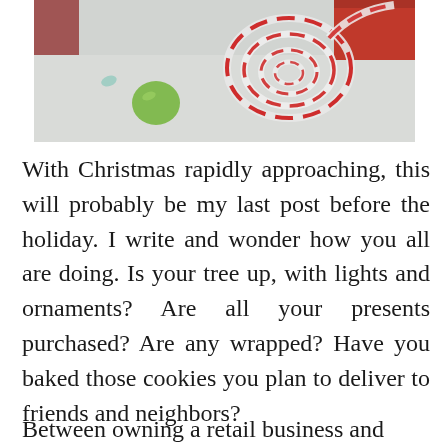[Figure (photo): Photo of Christmas-themed items including colorful round candies/buttons and a red-and-white twisted twine or string on a light gray background, with a red wrapped gift partially visible at top.]
With Christmas rapidly approaching, this will probably be my last post before the holiday. I write and wonder how you all are doing. Is your tree up, with lights and ornaments? Are all your presents purchased? Are any wrapped? Have you baked those cookies you plan to deliver to friends and neighbors?
My own answer to those questions would be no, no, not yet and most certainly no, which is pretty typical for the Kirkpatrick family.
Between owning a retail business and working